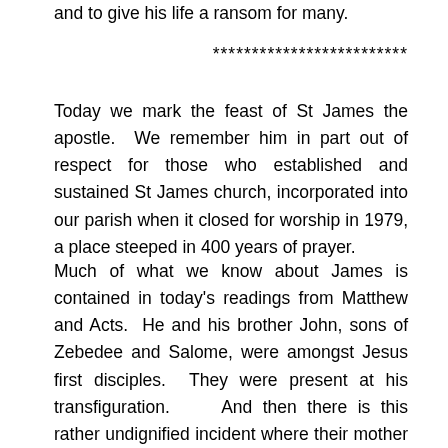and to give his life a ransom for many.
*************************
Today we mark the feast of St James the apostle.  We remember him in part out of respect for those who established and sustained St James church, incorporated into our parish when it closed for worship in 1979, a place steeped in 400 years of prayer.
Much of what we know about James is contained in today’s readings from Matthew and Acts.  He and his brother John, sons of Zebedee and Salome, were amongst Jesus first disciples.  They were present at his transfiguration.     And then there is this rather undignified incident where their mother pleads on their behalf that they be ranked ahead of the other disciples